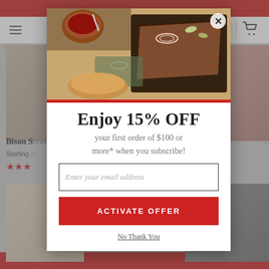[Figure (screenshot): Website popup modal on a meat/food e-commerce site. Background shows product listings for Bison steak with star ratings. A modal overlay shows a BBQ brisket food photo at the top, a red divider, and a promotional offer.]
Enjoy 15% OFF
your first order of $100 or more* when you subscribe!
Enter your email address
ACTIVATE OFFER
No Thank You